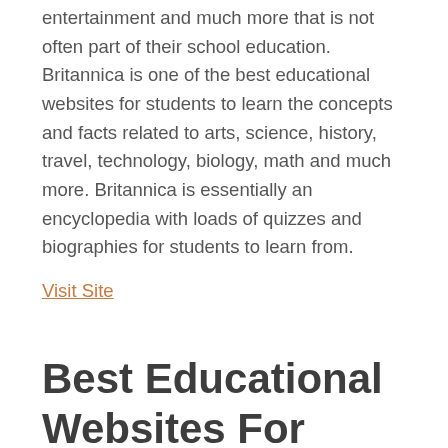entertainment and much more that is not often part of their school education. Britannica is one of the best educational websites for students to learn the concepts and facts related to arts, science, history, travel, technology, biology, math and much more. Britannica is essentially an encyclopedia with loads of quizzes and biographies for students to learn from.
Visit Site
Best Educational Websites For College Students